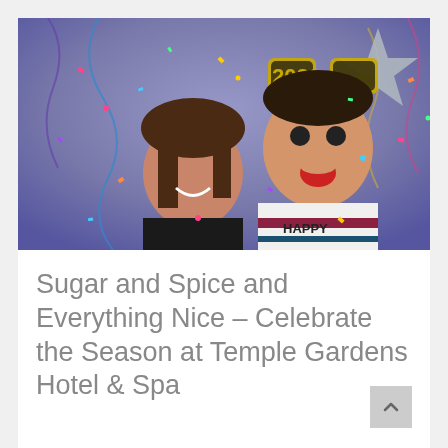[Figure (photo): Two people celebrating New Year's, a woman wearing a black masquerade mask on a stick and a child wearing gold glitter '2020' glasses prop. Colorful confetti falling around them. Child wearing a striped sweater with 'HAPPY' text. Purple/blue background with streamers and a silver star.]
Sugar and Spice and Everything Nice – Celebrate the Season at Temple Gardens Hotel & Spa